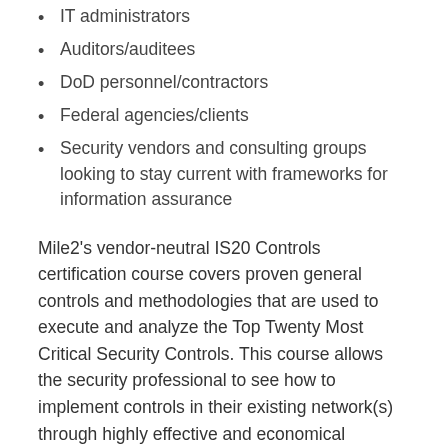IT administrators
Auditors/auditees
DoD personnel/contractors
Federal agencies/clients
Security vendors and consulting groups looking to stay current with frameworks for information assurance
Mile2's vendor-neutral IS20 Controls certification course covers proven general controls and methodologies that are used to execute and analyze the Top Twenty Most Critical Security Controls. This course allows the security professional to see how to implement controls in their existing network(s) through highly effective and economical automation. For management, this training is the best way to distinguish how you'll assess whether these security controls are effectively being administered or if they are falling short of industry standards. Nearly all organizations